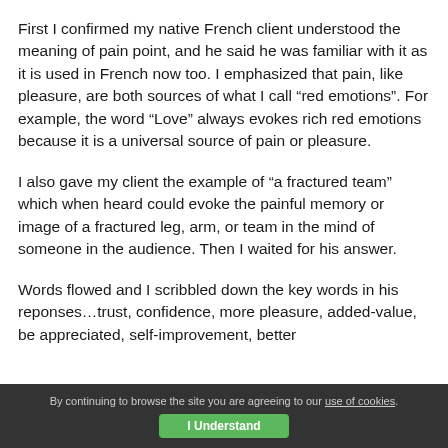First I confirmed my native French client understood the meaning of pain point, and he said he was familiar with it as it is used in French now too. I emphasized that pain, like pleasure, are both sources of what I call “red emotions”. For example, the word “Love” always evokes rich red emotions because it is a universal source of pain or pleasure.
I also gave my client the example of “a fractured team” which when heard could evoke the painful memory or image of a fractured leg, arm, or team in the mind of someone in the audience. Then I waited for his answer.
Words flowed and I scribbled down the key words in his reponses…trust, confidence, more pleasure, added-value, be appreciated, self-improvement, better
By continuing to browse the site you are agreeing to our use of cookies.